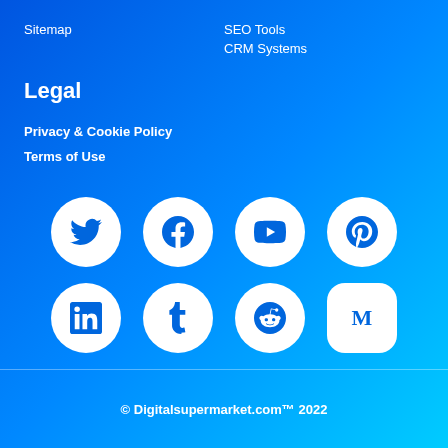Sitemap
SEO Tools
CRM Systems
Legal
Privacy & Cookie Policy
Terms of Use
[Figure (infographic): Social media icons in white circles: Twitter, Facebook, YouTube, Pinterest (top row); LinkedIn, Tumblr, Reddit, Medium (bottom row)]
© Digitalsupermarket.com™ 2022